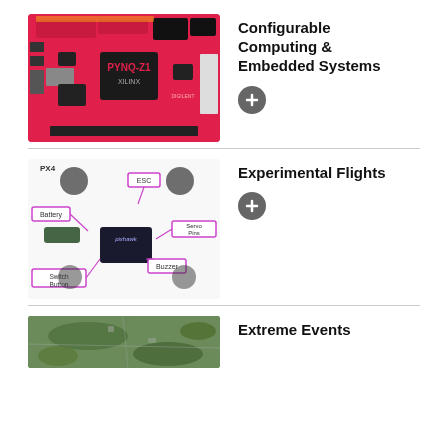[Figure (photo): PYNQ-Z1 FPGA development board by Xilinx/Digilent, pink/red PCB with various connectors and components]
Configurable Computing & Embedded Systems
[Figure (schematic): Drone flight controller wiring diagram showing Battery, ESC, Servo Pins, Buzzer, Switch Button, and Pixhawk components with labeled callouts]
Experimental Flights
[Figure (photo): Aerial/satellite map view of terrain]
Extreme Events